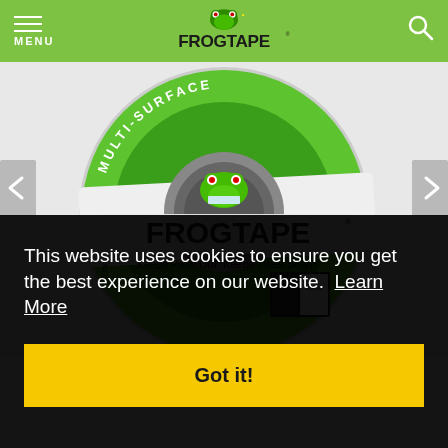MENU | FROGTAPE | [search icon]
[Figure (photo): A roll of FrogTape Multi-Surface painter's tape with green packaging. Label reads: MULTI-SURFACE, FROGTAPE, Keeps Paint Out. Keeps Lines Sharp. 21 Day. A comparison swatch shows paint lines with and without FrogTape.]
This website uses cookies to ensure you get the best experience on our website.  Learn More
Got it!